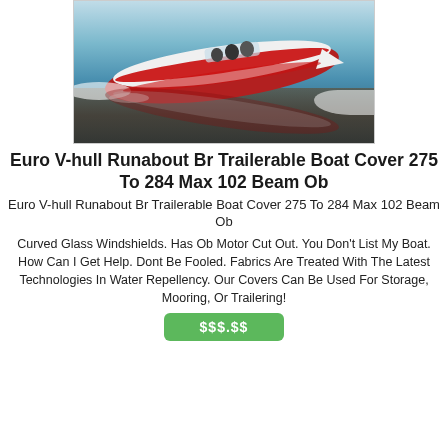[Figure (photo): A red and white Euro V-hull runabout speedboat skimming across water at speed, with passengers aboard, aerial/side view, water reflection visible below.]
Euro V-hull Runabout Br Trailerable Boat Cover 275 To 284 Max 102 Beam Ob
Euro V-hull Runabout Br Trailerable Boat Cover 275 To 284 Max 102 Beam Ob
Curved Glass Windshields. Has Ob Motor Cut Out. You Don't List My Boat. How Can I Get Help. Dont Be Fooled. Fabrics Are Treated With The Latest Technologies In Water Repellency. Our Covers Can Be Used For Storage, Mooring, Or Trailering!
[Figure (other): A green button partially visible at the bottom of the page showing a price (partially cut off).]